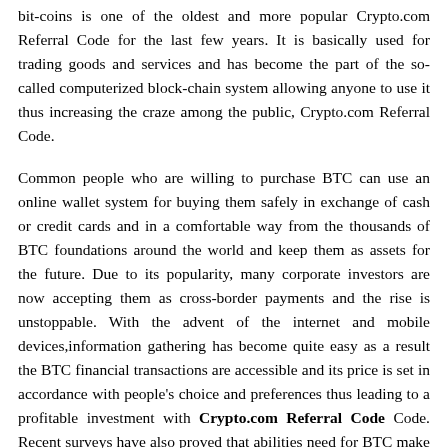bit-coins is one of the oldest and more popular Crypto.com Referral Code for the last few years. It is basically used for trading goods and services and has become the part of the so-called computerized block-chain system allowing anyone to use it thus increasing the craze among the public, Crypto.com Referral Code.
Common people who are willing to purchase BTC can use an online wallet system for buying them safely in exchange of cash or credit cards and in a comfortable way from the thousands of BTC foundations around the world and keep them as assets for the future. Due to its popularity, many corporate investors are now accepting them as cross-border payments and the rise is unstoppable. With the advent of the internet and mobile devices,information gathering has become quite easy as a result the BTC financial transactions are accessible and its price is set in accordance with people's choice and preferences thus leading to a profitable investment with Crypto.com Referral Code Code. Recent surveys have also proved thatabilities need for BTC make a profit. However,